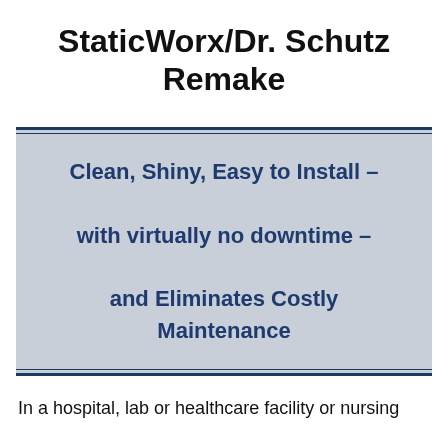StaticWorx/Dr. Schutz Remake
Clean, Shiny, Easy to Install – with virtually no downtime – and Eliminates Costly Maintenance
In a hospital, lab or healthcare facility or nursing